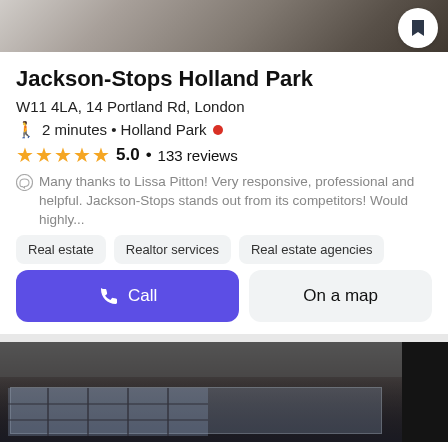[Figure (photo): Top photo showing furniture/interior, partially visible at top of card with a bookmark button overlay]
Jackson-Stops Holland Park
W11 4LA, 14 Portland Rd, London
2 minutes • Holland Park
5.0 • 133 reviews
Many thanks to Lissa Pitton! Very responsive, professional and helpful. Jackson-Stops stands out from its competitors! Would highly...
Real estate
Realtor services
Real estate agencies
Call
On a map
[Figure (photo): Bottom photo showing industrial interior space with large grid windows and exposed ceiling]